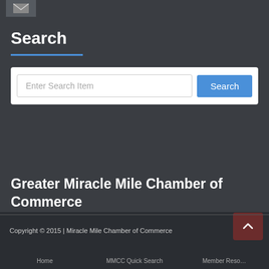[Figure (screenshot): Small email/envelope icon button in top-left corner]
Search
[Figure (other): Search bar with placeholder text 'Enter Search Item' and a blue Search button]
Greater Miracle Mile Chamber of Commerce
Copyright © 2015 | Miracle Mile Chamber of Commerce